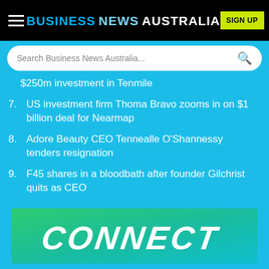BUSINESS NEWS AUSTRALIA
Search Business News Australia...
$250m investment in Tenmile
7. US investment firm Thoma Bravo zooms in on $1 billion deal for Nearmap
8. Adore Beauty CEO Tennealle O'Shannessy tenders resignation
9. F45 shares in a bloodbath after founder Gilchrist quits as CEO
10. Australia's top 20 cannabis companies
[Figure (illustration): Green to teal gradient banner with italic white text reading CONNECT]